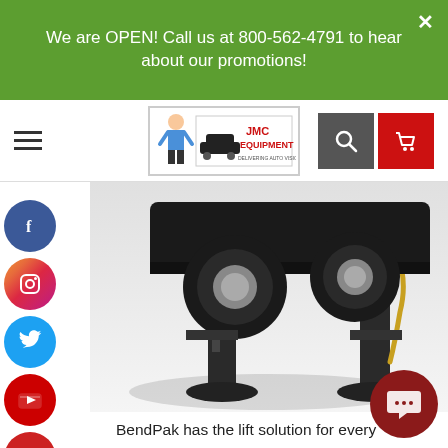We are OPEN! Call us at 800-562-4791 to hear about our promotions!
[Figure (logo): JMC Equipment logo with cartoon mechanic and car]
[Figure (photo): BendPak XPR series two-post car lift shown from below with a vehicle raised, showing tires and lift columns]
BendPak has the lift solution for every automotive service need. The XPR series car lifts provide the lifting power, options, and reliability that provide a safe work environment and make service technicians more productive.